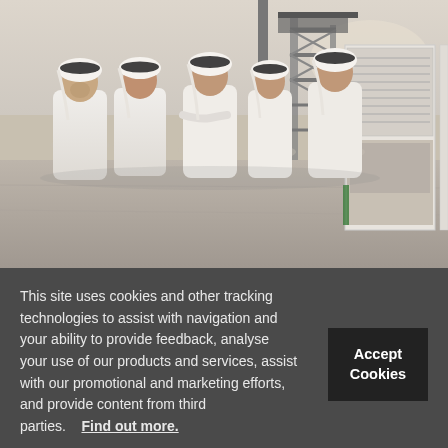[Figure (photo): Men in white traditional Arab dress (thobes and gutras) standing at a construction site, discussing and looking at display boards. Industrial scaffold tower and machinery visible in background. Display boards with plans/images on the right.]
This site uses cookies and other tracking technologies to assist with navigation and your ability to provide feedback, analyse your use of our products and services, assist with our promotional and marketing efforts, and provide content from third parties.    Find out more.
Accept Cookies